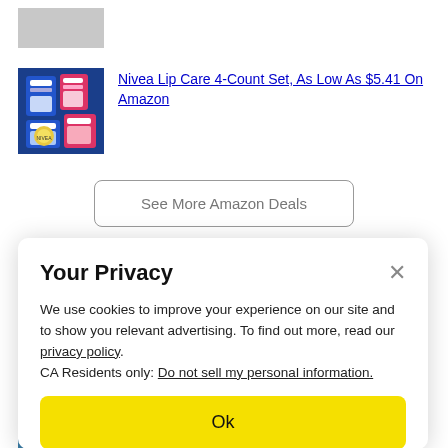[Figure (photo): Partial gray/white image cut off at top]
[Figure (photo): Nivea lip care products displayed in store, blue and pink packaging]
Nivea Lip Care 4-Count Set, As Low As $5.41 On Amazon
See More Amazon Deals
Your Privacy
We use cookies to improve your experience on our site and to show you relevant advertising. To find out more, read our privacy policy.
CA Residents only: Do not sell my personal information.
Ok
verified deals on the products you love.